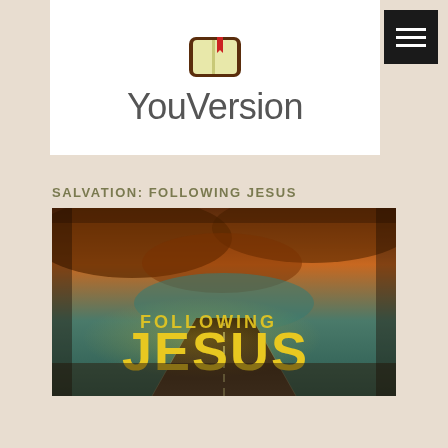[Figure (logo): YouVersion Bible app logo with a book icon and the text 'YouVersion' in gray on a white background]
SALVATION: FOLLOWING JESUS
[Figure (photo): Dramatic photo of a road stretching into the distance under a stormy orange and teal sky, with the text 'FOLLOWING JESUS' in bold yellow letters overlaid]